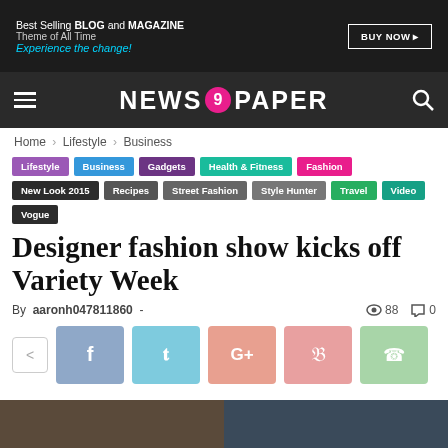[Figure (screenshot): Ad banner: Best Selling BLOG and MAGAZINE Theme of All Time. Experience the change! BUY NOW button.]
NEWS 9 PAPER
Home › Lifestyle › Business
Lifestyle | Business | Gadgets | Health & Fitness | Fashion | New Look 2015 | Recipes | Street Fashion | Style Hunter | Travel | Video | Vogue
Designer fashion show kicks off Variety Week
By aaronh047811860 - 88 views 0 comments
[Figure (screenshot): Social share buttons: share, Facebook, Twitter, Google+, Pinterest, WhatsApp]
[Figure (photo): Bottom image strip showing article photo preview]